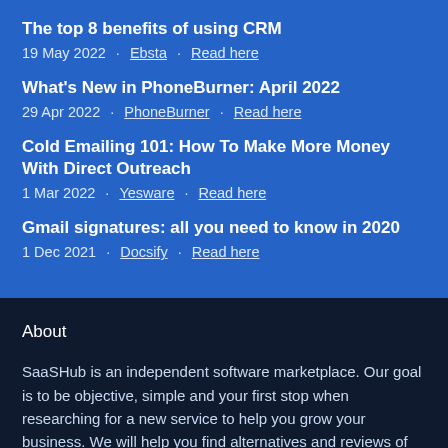The top 8 benefits of using CRM
19 May 2022 · Ebsta · Read here
What's New in PhoneBurner: April 2022
29 Apr 2022 · PhoneBurner · Read here
Cold Emailing 101: How To Make More Money With Direct Outreach
1 Mar 2022 · Yesware · Read here
Gmail signatures: all you need to know in 2020
1 Dec 2021 · Docsify · Read here
About
SaaSHub is an independent software marketplace. Our goal is to be objective, simple and your first stop when researching for a new service to help you grow your business. We will help you find alternatives and reviews of the products you already use.